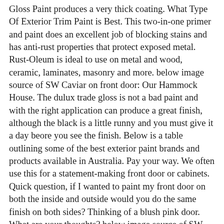Gloss Paint produces a very thick coating. What Type Of Exterior Trim Paint is Best. This two-in-one primer and paint does an excellent job of blocking stains and has anti-rust properties that protect exposed metal. Rust-Oleum is ideal to use on metal and wood, ceramic, laminates, masonry and more. below image source of SW Caviar on front door: Our Hammock House. The dulux trade gloss is not a bad paint and with the right application can produce a great finish, although the black is a little runny and you must give it a day beore you see the finish. Below is a table outlining some of the best exterior paint brands and products available in Australia. Pay your way. We often use this for a statement-making front door or cabinets. Quick question, if I wanted to paint my front door on both the inside and outside would you do the same finish on both sides? Thinking of a blush pink door. What are your thoughts? below image source of SW Inkwell in office: Dear Lillie Studio, below image source of SW Inkwell on front door: Tag & Tibby. Do you recommend a flat finish on walls for black? The perfect saturated black that looks incredible in a high gloss finish. Back prior to 1990, there were basically two types of exterior finishes, flat & gloss. Skip to main content. Hi There! Currently in the process of comparing Allbacks (Holkams) and Linseedpaintcompany. However, our cabinet maker usually uses a satin finish on the cabinets. See our full front-door paint guide bellow for more ideas on painting your front door! The owner and design team wanted the highest gloss finish in black for